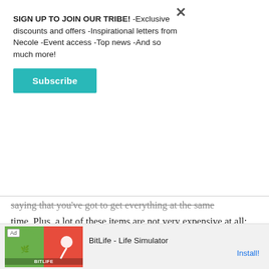SIGN UP TO JOIN OUR TRIBE! -Exclusive discounts and offers -Inspirational letters from Necole -Event access -Top news -And so much more!
Subscribe
saying that you've got to get everything at the same time. Plus, a lot of these items are not very expensive at all; many, you can even cop at the grocery store. And again, I promise you, if you've got them in your possession, it will make cooking (almost) a breeze. (By the way, this list pretty much only scratches the surface. If you want to check out more things that a lot of regular cooks own, check
[Figure (other): Advertisement banner for BitLife - Life Simulator app, showing green and red graphics with a sperm icon, Ad label, app name and Install button]